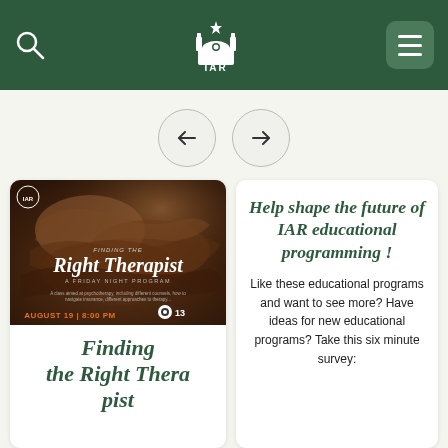IAR
[Figure (screenshot): Event promotional image for 'Finding the Right Therapist - A Friday Night Program' showing hands clasped together, with text AUGUST 19 | 8:00 PM and a views counter showing 13]
Finding the Right Thera pist
Help shape the future of IAR educational programming !
Like these educational programs and want to see more? Have ideas for new educational programs? Take this six minute survey: